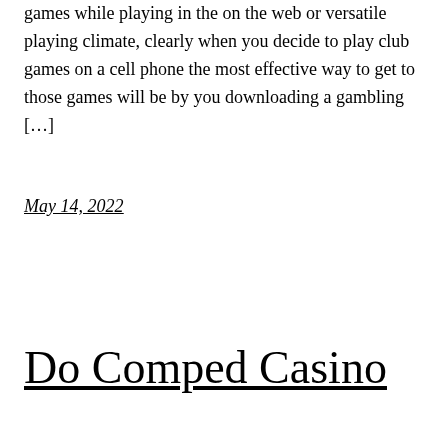games while playing in the on the web or versatile playing climate, clearly when you decide to play club games on a cell phone the most effective way to get to those games will be by you downloading a gambling […]
May 14, 2022
Do Comped Casino